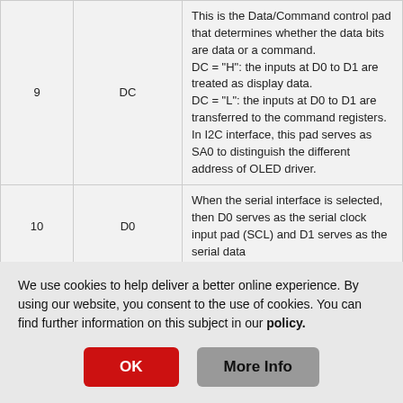| # | Name | Description |
| --- | --- | --- |
| 9 | DC | This is the Data/Command control pad that determines whether the data bits are data or a command.
DC = “H”: the inputs at D0 to D1 are treated as display data.
DC = “L”: the inputs at D0 to D1 are transferred to the command registers.
In I2C interface, this pad serves as SA0 to distinguish the different address of OLED driver. |
| 10 | D0 | When the serial interface is selected, then D0 serves as the serial clock input pad (SCL) and D1 serves as the serial data... |
We use cookies to help deliver a better online experience. By using our website, you consent to the use of cookies. You can find further information on this subject in our policy.